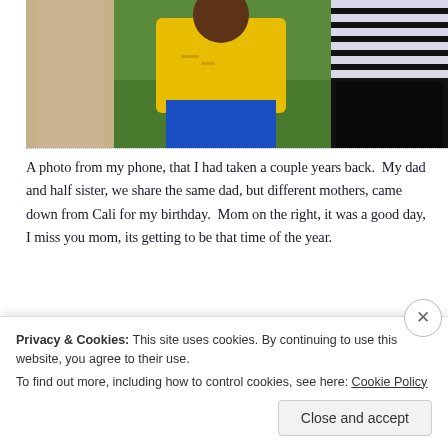[Figure (photo): A cropped photo showing three people standing outdoors on grass. Left: person in beige/khaki trousers. Center: young person wearing a yellow top and bright blue capri pants. Right: person in a striped (navy/white) top and black pants.]
A photo from my phone, that I had taken a couple years back.  My dad and half sister, we share the same dad, but different mothers, came down from Cali for my birthday.  Mom on the right, it was a good day,   I miss you mom, its getting to be that time of the year.
Privacy & Cookies: This site uses cookies. By continuing to use this website, you agree to their use.
To find out more, including how to control cookies, see here: Cookie Policy